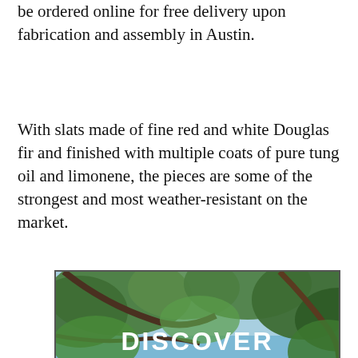be ordered online for free delivery upon fabrication and assembly in Austin.
With slats made of fine red and white Douglas fir and finished with multiple coats of pure tung oil and limonene, the pieces are some of the strongest and most weather-resistant on the market.
[Figure (photo): Outdoor photo taken through tree canopy with green leaves and branches against blue sky, with text overlay reading DISCOVER ALL FUN in large white bold letters. Castle or ruins visible in lower portion.]